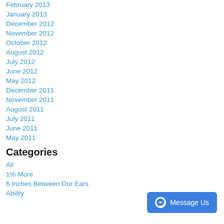February 2013
January 2013
December 2012
November 2012
October 2012
August 2012
July 2012
June 2012
May 2012
December 2011
November 2011
August 2011
July 2011
June 2011
May 2011
Categories
All
1% More
6 Inches Between Our Ears
Ability
[Figure (other): Facebook Messenger 'Message Us' button in blue]